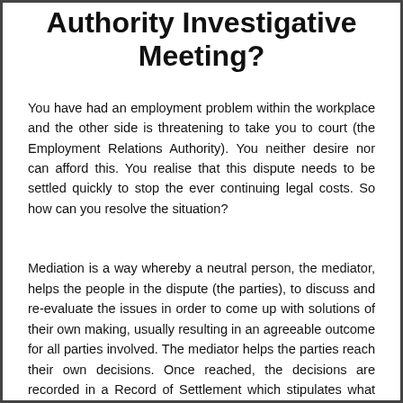Authority Investigative Meeting?
You have had an employment problem within the workplace and the other side is threatening to take you to court (the Employment Relations Authority). You neither desire nor can afford this. You realise that this dispute needs to be settled quickly to stop the ever continuing legal costs. So how can you resolve the situation?
Mediation is a way whereby a neutral person, the mediator, helps the people in the dispute (the parties), to discuss and re-evaluate the issues in order to come up with solutions of their own making, usually resulting in an agreeable outcome for all parties involved. The mediator helps the parties reach their own decisions. Once reached, the decisions are recorded in a Record of Settlement which stipulates what should be done, by whom